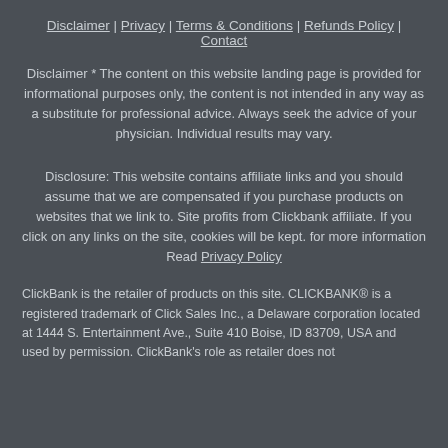Disclaimer | Privacy | Terms & Conditions | Refunds Policy | Contact
Disclaimer * The content on this website landing page is provided for informational purposes only, the content is not intended in any way as a substitute for professional advice. Always seek the advice of your physician. Individual results may vary.
Disclosure: This website contains affiliate links and you should assume that we are compensated if you purchase products on websites that we link to. Site profits from Clickbank affiliate. If you click on any links on the site, cookies will be kept. for more information Read Privacy Policy
ClickBank is the retailer of products on this site. CLICKBANK® is a registered trademark of Click Sales Inc., a Delaware corporation located at 1444 S. Entertainment Ave., Suite 410 Boise, ID 83709, USA and used by permission. ClickBank's role as retailer does not